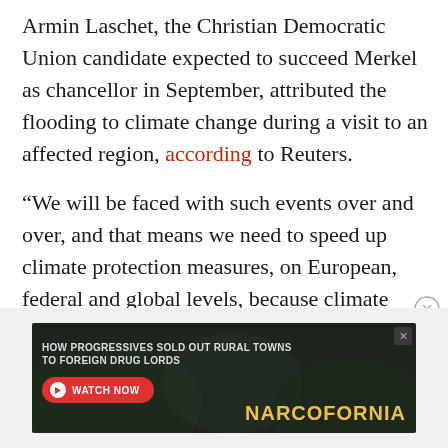Armin Laschet, the Christian Democratic Union candidate expected to succeed Merkel as chancellor in September, attributed the flooding to climate change during a visit to an affected region, according to Reuters.
“We will be faced with such events over and over, and that means we need to speed up climate protection measures, on European, federal and global levels, because climate change isn’t confined to one state,” he said.
[Figure (other): Advertisement banner: 'HOW PROGRESSIVES SOLD OUT RURAL TOWNS TO FOREIGN DRUG LORDS' with a WATCH NOW button and NARCOFORNIA branding]